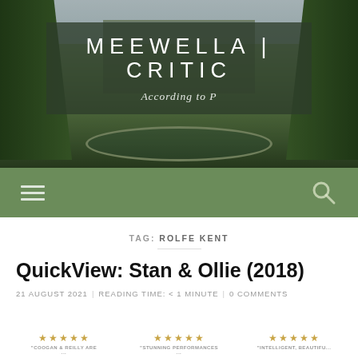[Figure (photo): Garden/chateau background photo with fountain, trees, and building, overlaid with semi-transparent dark box]
MEEWELLA | CRITIC
According to P
[Figure (infographic): Green navigation bar with hamburger menu icon on left and search magnifying glass icon on right]
TAG: ROLFE KENT
QuickView: Stan & Ollie (2018)
21 AUGUST 2021 | READING TIME: < 1 MINUTE | 0 COMMENTS
[Figure (infographic): Three groups of five gold stars with captions below: COOGAN & REILLY ARE..., STUNNING PERFORMANCES, INTELLIGENT, BEAUTIFUL...]